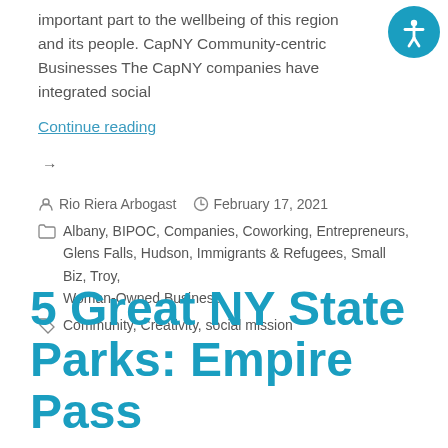important part to the wellbeing of this region and its people. CapNY Community-centric Businesses The CapNY companies have integrated social
Continue reading →
Rio Riera Arbogast   February 17, 2021
Albany, BIPOC, Companies, Coworking, Entrepreneurs, Glens Falls, Hudson, Immigrants & Refugees, Small Biz, Troy, Woman-Owned Business
Community, Creativity, social mission
5 Great NY State Parks: Empire Pass